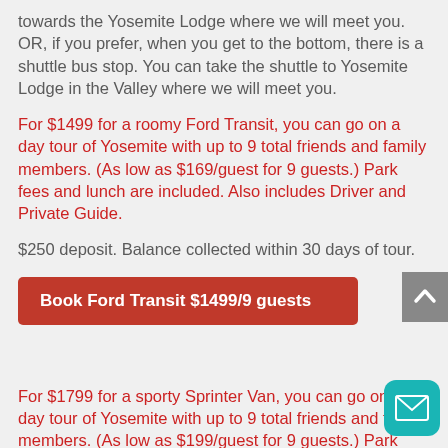towards the Yosemite Lodge where we will meet you. OR, if you prefer, when you get to the bottom, there is a shuttle bus stop. You can take the shuttle to Yosemite Lodge in the Valley where we will meet you.
For $1499 for a roomy Ford Transit, you can go on a day tour of Yosemite with up to 9 total friends and family members. (As low as $169/guest for 9 guests.) Park fees and lunch are included. Also includes Driver and Private Guide.
$250 deposit. Balance collected within 30 days of tour.
Book Ford Transit $1499/9 guests
For $1799 for a sporty Sprinter Van, you can go on a day tour of Yosemite with up to 9 total friends and family members. (As low as $199/guest for 9 guests.) Park